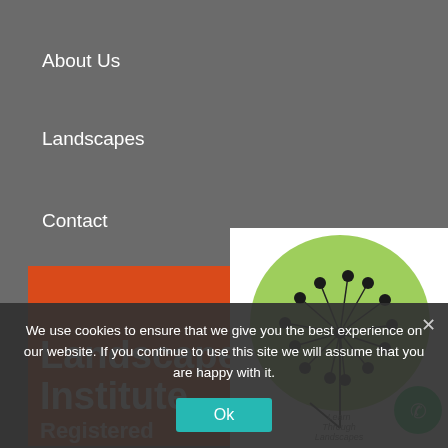About Us
Landscapes
Contact
[Figure (logo): Landscape Institute Registered logo — red/orange background with white text reading 'Landscape Institute' in bold and 'Registered' below]
[Figure (logo): Learn Through Landscapes logo — green circular dandelion clock illustration on white background with text 'Learn Through Landscapes']
We use cookies to ensure that we give you the best experience on our website. If you continue to use this site we will assume that you are happy with it.